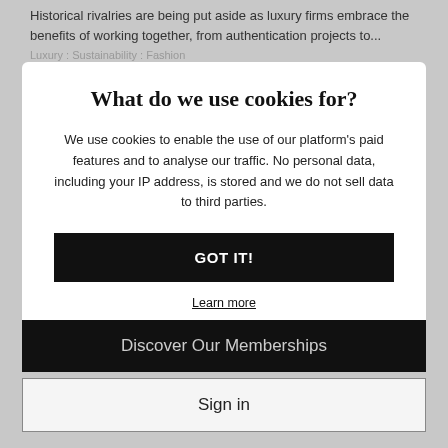Historical rivalries are being put aside as luxury firms embrace the benefits of working together, from authentication projects to...
Luxury : Sustainability : Fashion
What do we use cookies for?
We use cookies to enable the use of our platform's paid features and to analyse our traffic. No personal data, including your IP address, is stored and we do not sell data to third parties.
GOT IT!
Learn more
Discover Our Memberships
Sign in